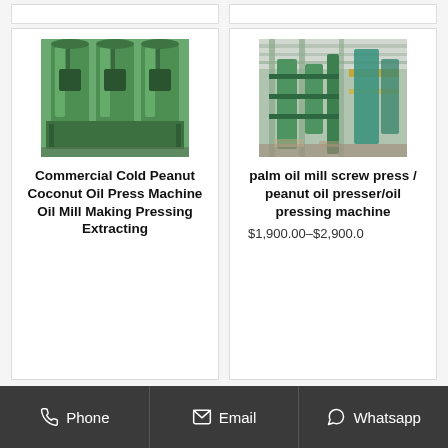[Figure (photo): Top strip with two partially visible product card borders]
[Figure (photo): Photo of green industrial commercial cold peanut coconut oil press machines in a factory setting]
Commercial Cold Peanut Coconut Oil Press Machine Oil Mill Making Pressing Extracting
[Figure (photo): Photo of palm oil mill screw press machinery in an industrial facility, aerial/overhead view]
palm oil mill screw press / peanut oil presser/oil pressing machine
$1,900.00–$2,900.0
Phone   Email   Whatsapp